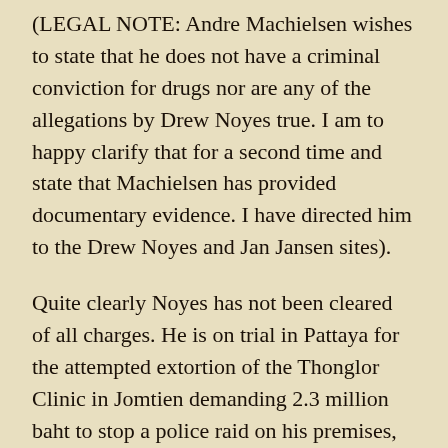(LEGAL NOTE: Andre Machielsen wishes to state that he does not have a criminal conviction for drugs nor are any of the allegations by Drew Noyes true. I am to happy clarify that for a second time and state that Machielsen has provided documentary evidence. I have directed him to the Drew Noyes and Jan Jansen sites).
Quite clearly Noyes has not been cleared of all charges. He is on trial in Pattaya for the attempted extortion of the Thonglor Clinic in Jomtien demanding 2.3 million baht to stop a police raid on his premises, when presumably something illegal would be found and the Pattaya Times would publish a report.  While Noyes was cleared of a libel charges – contrary to his claims